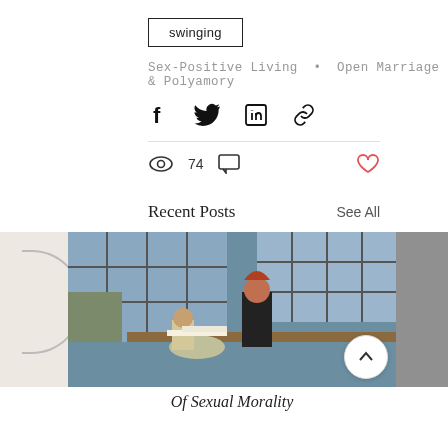swinging
Sex-Positive Living • Open Marriage & Polyamory
[Figure (other): Social share icons: Facebook, Twitter, LinkedIn, Link]
74 views, 0 comments, heart/like button
Recent Posts
See All
[Figure (photo): Photo of two people at a desk in an office, one seated reading papers, one standing leaning over. Below the photo is an italic caption 'Of Sexual Morality']